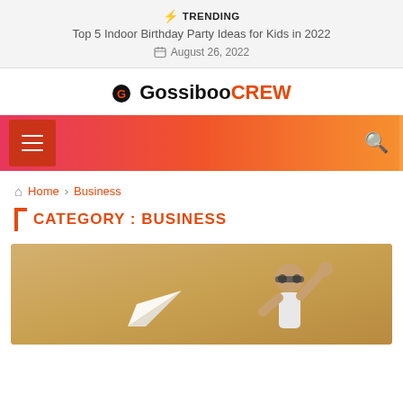⚡ TRENDING
Top 5 Indoor Birthday Party Ideas for Kids in 2022
📅 August 26, 2022
GossibooCREW
[Figure (screenshot): Navigation bar with hamburger menu on left and search icon on right, gradient pink-to-orange background]
Home › Business
CATEGORY : BUSINESS
[Figure (photo): Child wearing aviator goggles and raising fist triumphantly, golden/tan background, paper airplane in foreground]